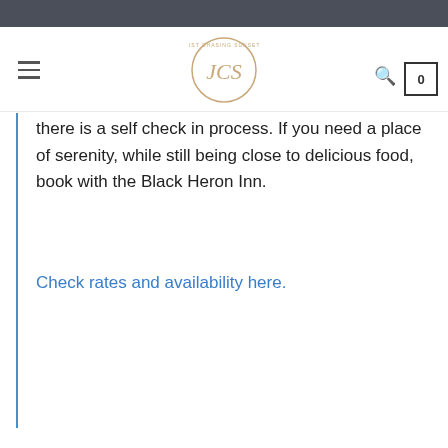[Figure (logo): Just Chasing Sunsets blog logo — circular logo with 'JCS' monogram and text 'JUST CHASING SUNSETS' around the circle border]
there is a self check in process. If you need a place of serenity, while still being close to delicious food, book with the Black Heron Inn.
Check rates and availability here.